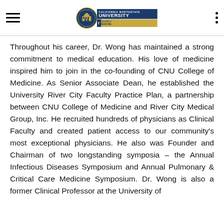California Northstate University College of Medicine
Throughout his career, Dr. Wong has maintained a strong commitment to medical education. His love of medicine inspired him to join in the co-founding of CNU College of Medicine. As Senior Associate Dean, he established the University River City Faculty Practice Plan, a partnership between CNU College of Medicine and River City Medical Group, Inc. He recruited hundreds of physicians as Clinical Faculty and created patient access to our community's most exceptional physicians. He also was Founder and Chairman of two longstanding symposia – the Annual Infectious Diseases Symposium and Annual Pulmonary & Critical Care Medicine Symposium. Dr. Wong is also a former Clinical Professor at the University of